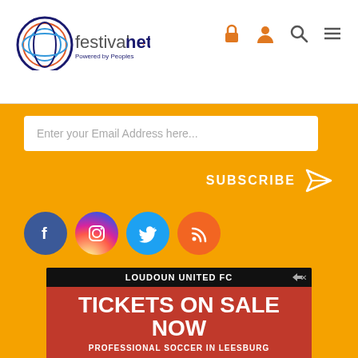festivalnet. Powered by Peoples
Enter your Email Address here...
SUBSCRIBE
[Figure (illustration): Social media icons: Facebook, Instagram, Twitter, RSS]
[Figure (illustration): Advertisement: Loudoun United FC — Tickets On Sale Now — Professional Soccer In Leesburg]